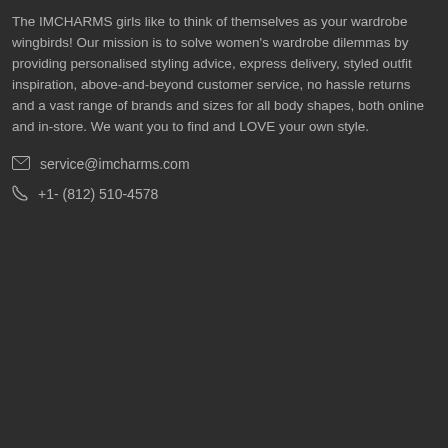The IMCHARMS girls like to think of themselves as your wardrobe wingbirds! Our mission is to solve women's wardrobe dilemmas by providing personalised styling advice, express delivery, styled outfit inspiration, above-and-beyond customer service, no hassle returns and a vast range of brands and sizes for all body shapes, both online and in-store. We want you to find and LOVE your own style.
service@imcharms.com
+1- (812) 510-4578